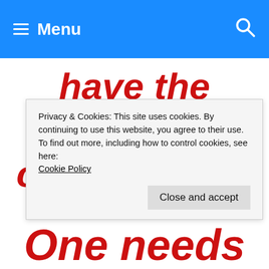Menu
have the potential to change one's
Privacy & Cookies: This site uses cookies. By continuing to use this website, you agree to their use.
To find out more, including how to control cookies, see here:
Cookie Policy
Close and accept
One needs